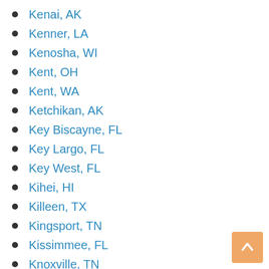Kenai, AK
Kenner, LA
Kenosha, WI
Kent, OH
Kent, WA
Ketchikan, AK
Key Biscayne, FL
Key Largo, FL
Key West, FL
Kihei, HI
Killeen, TX
Kingsport, TN
Kissimmee, FL
Knoxville, TN
Kodiak, AK
La Grange, GA
Lafayette, LA
Lake Buena Vista, FL
Lake Charles, LA